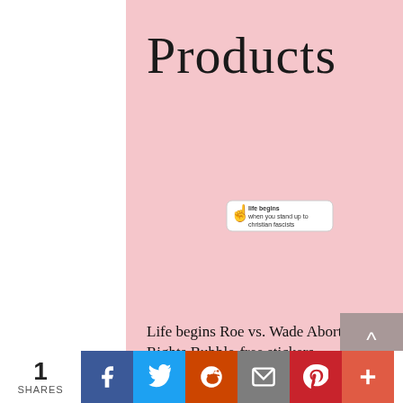Products
[Figure (illustration): Product carousel showing a sticker with a hand making a gesture and text 'life begins when you stand up to christian fascists'. Left and right navigation arrows on either side.]
Life begins Roe vs. Wade Abortion Rights Bubble-free stickers
[Figure (infographic): Social sharing bar at the bottom with share count '1 SHARES' and buttons for Facebook, Twitter, Reddit, Email, Pinterest, and a plus button]